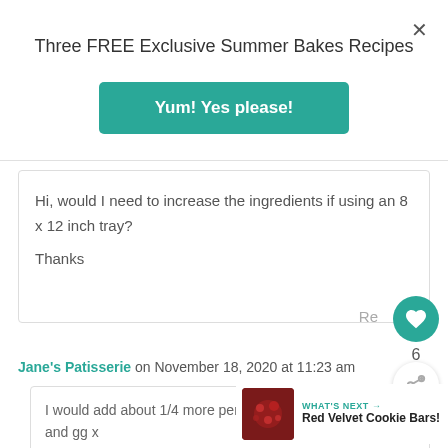Three FREE Exclusive Summer Bakes Recipes
Yum! Yes please!
Hi, would I need to increase the ingredients if using an 8 x 12 inch tray?
Thanks
Reply
6
Jane's Patisserie on November 18, 2020 at 11:23 am
I would add about 1/4 more personally – and gg x
WHAT'S NEXT → Red Velvet Cookie Bars!